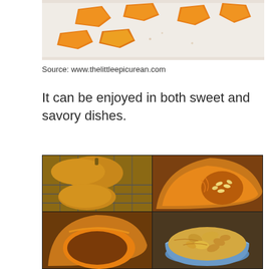[Figure (photo): Chunks of butternut squash on a white baking sheet, partially cut off at top]
Source: www.thelittleepicurean.com
It can be enjoyed in both sweet and savory dishes.
[Figure (photo): Collage of four photos showing whole and cut butternut squash: whole squash on cooling rack, squash cut in half showing orange flesh and seeds, hollowed squash half, and squash seeds in a bowl]